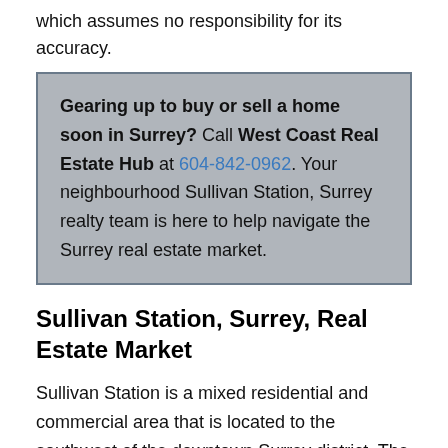which assumes no responsibility for its accuracy.
Gearing up to buy or sell a home soon in Surrey? Call West Coast Real Estate Hub at 604-842-0962. Your neighbourhood Sullivan Station, Surrey realty team is here to help navigate the Surrey real estate market.
Sullivan Station, Surrey, Real Estate Market
Sullivan Station is a mixed residential and commercial area that is located to the southwest of the downtown Surrey district. The community is a vibrant and historically relevant area in the greater